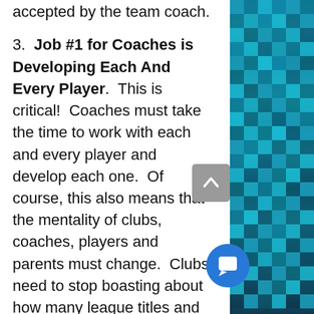accepted by the team coach.
3. Job #1 for Coaches is Developing Each And Every Player. This is critical! Coaches must take the time to work with each and every player and develop each one. Of course, this also means that the mentality of clubs, coaches, players and parents must change. Clubs need to stop boasting about how many league titles and tournaments they've won and instead recognize and reward coaches who make positive changes in players' development. Coaches must accept that the outcome of games will be less important, and that they will be judged on how players they progress to higher levels
[Figure (illustration): Decorative teal/blue pixelated mosaic pattern on the right side of the page]